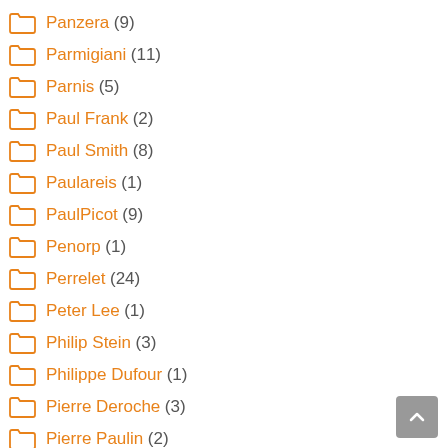Panzera (9)
Parmigiani (11)
Parnis (5)
Paul Frank (2)
Paul Smith (8)
Paulareis (1)
PaulPicot (9)
Penorp (1)
Perrelet (24)
Peter Lee (1)
Philip Stein (3)
Philippe Dufour (1)
Pierre Deroche (3)
Pierre Paulin (2)